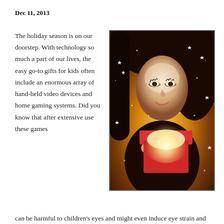Dec 11, 2013
[Figure (photo): Young woman with long dark hair smiling while opening a glowing red gift box, surrounded by sparkles and golden light]
The holiday season is on our doorstep. With technology so much a part of our lives, the easy go-to gifts for kids often include an enormous array of hand-held video devices and home gaming systems. Did you know that after extensive use these games can be harmful to children's eyes and might even induce eye strain and